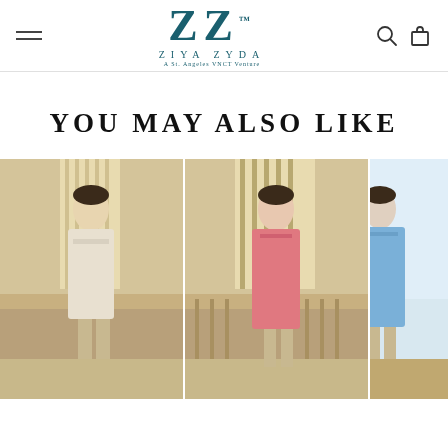Ziya Zyda — A St. Angeles VNCT Venture — navigation bar with hamburger menu, logo, search and cart icons
YOU MAY ALSO LIKE
[Figure (photo): Woman in cream/white traditional Indian outfit (tunic and pants) standing in a living room with a sofa in the background]
[Figure (photo): Woman in pink traditional Indian dress/kurti standing in a living room with striped sofa in background]
[Figure (photo): Partially visible third product — woman in light blue traditional Indian outfit]